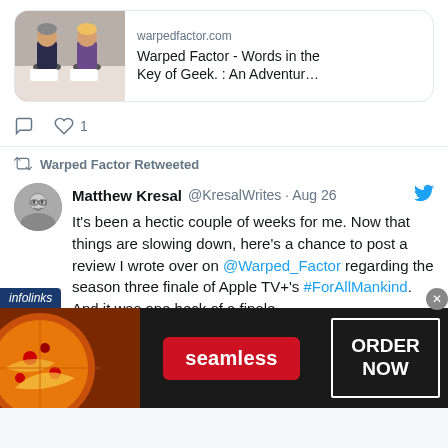[Figure (screenshot): Link preview card with image of figurines and text: warpedfactor.com / Warped Factor - Words in the Key of Geek. : An Adventur...]
1 like
Warped Factor Retweeted
Matthew Kresal @KresalWrites · Aug 26
It's been a hectic couple of weeks for me. Now that things are slowing down, here's a chance to post a review I wrote over on @Warped_Factor regarding the season three finale of Apple TV+'s #ForAllMankind. And it was one heck of a finale…
[Figure (screenshot): Seamless food delivery advertisement banner with pizza image, seamless logo button, and ORDER NOW button]